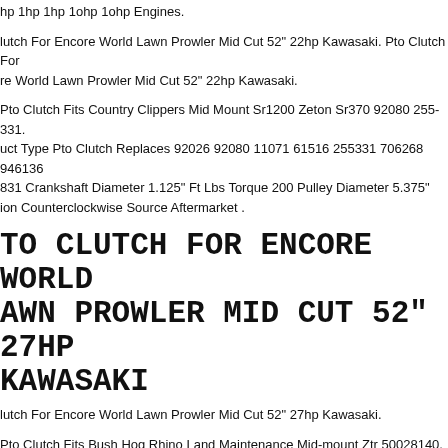hp 1hp 1hp 1ohp 1ohp Engines.
lutch For Encore World Lawn Prowler Mid Cut 52" 22hp Kawasaki. Pto Clutch For re World Lawn Prowler Mid Cut 52" 22hp Kawasaki.
Pto Clutch Fits Country Clippers Mid Mount Sr1200 Zeton Sr370 92080 255-331. uct Type Pto Clutch Replaces 92026 92080 11071 61516 255331 706268 946136 831 Crankshaft Diameter 1.125" Ft Lbs Torque 200 Pulley Diameter 5.375" ion Counterclockwise Source Aftermarket .
TO CLUTCH FOR ENCORE WORLD AWN PROWLER MID CUT 52" 27HP KAWASAKI
lutch For Encore World Lawn Prowler Mid Cut 52" 27hp Kawasaki.
Pto Clutch Fits Bush Hog Rhino Land Maintenance Mid-mount Ztr 50028140. uct Type Pto Clutch Replaces 20002 521860 50028140 5218-60 Crankshaft eter 1.125" Ft Lbs Torque 200 Pulley Diameter 6.1" Rotation Counterclockwise ce Aftermarket .
per 1855a Tractor Mid Pto Input Shaft Assembly. Snapper 1855a Tractor Mid Pto Shaft Assembly